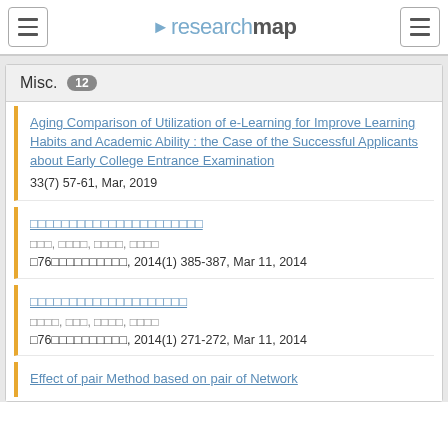researchmap
Misc. 12
Aging Comparison of Utilization of e-Learning for Improve Learning Habits and Academic Ability : the Case of the Successful Applicants about Early College Entrance Examination
33(7) 57-61, Mar, 2019
□□□□□□□□□□□□□□□□□□□□□□
□□□, □□□□, □□□□, □□□□
□76□□□□□□□□□□, 2014(1) 385-387, Mar 11, 2014
□□□□□□□□□□□□□□□□□□□□
□□□□, □□□, □□□□, □□□□
□76□□□□□□□□□□, 2014(1) 271-272, Mar 11, 2014
Effect of pair Method based on pair of Network